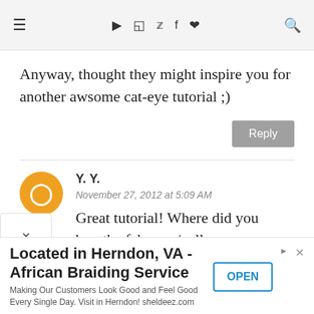≡  ▶  📷  🐦  f  ♥  🔍
Anyway, thought they might inspire you for another awsome cat-eye tutorial ;)
Reply
Y. Y.
November 27, 2012 at 5:09 AM
Great tutorial! Where did you buy the fab grey/yellow...
Located in Herndon, VA - African Braiding Service
Making Our Customers Look Good and Feel Good Every Single Day. Visit in Herndon! sheldeez.com
OPEN